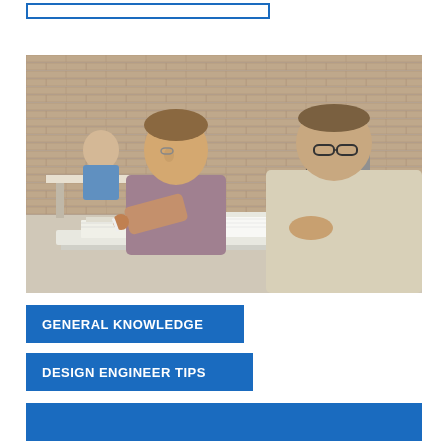[Figure (photo): Two men studying together at a table with open books and papers in a classroom setting. A brick wall is visible in the background. One man is smiling and leaning forward. Another person is seated in the background.]
GENERAL KNOWLEDGE
DESIGN ENGINEER TIPS